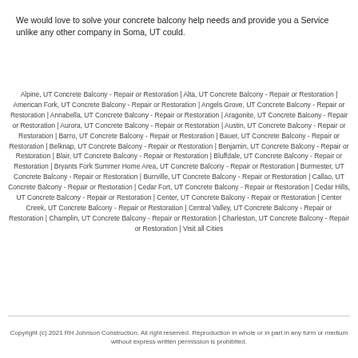We would love to solve your concrete balcony help needs and provide you a Service unlike any other company in Soma, UT could.
Alpine, UT Concrete Balcony - Repair or Restoration | Alta, UT Concrete Balcony - Repair or Restoration | American Fork, UT Concrete Balcony - Repair or Restoration | Angels Grove, UT Concrete Balcony - Repair or Restoration | Annabella, UT Concrete Balcony - Repair or Restoration | Aragonite, UT Concrete Balcony - Repair or Restoration | Aurora, UT Concrete Balcony - Repair or Restoration | Austin, UT Concrete Balcony - Repair or Restoration | Barro, UT Concrete Balcony - Repair or Restoration | Bauer, UT Concrete Balcony - Repair or Restoration | Belknap, UT Concrete Balcony - Repair or Restoration | Benjamin, UT Concrete Balcony - Repair or Restoration | Blair, UT Concrete Balcony - Repair or Restoration | Bluffdale, UT Concrete Balcony - Repair or Restoration | Bryants Fork Summer Home Area, UT Concrete Balcony - Repair or Restoration | Burmester, UT Concrete Balcony - Repair or Restoration | Burrville, UT Concrete Balcony - Repair or Restoration | Callao, UT Concrete Balcony - Repair or Restoration | Cedar Fort, UT Concrete Balcony - Repair or Restoration | Cedar Hills, UT Concrete Balcony - Repair or Restoration | Center, UT Concrete Balcony - Repair or Restoration | Center Creek, UT Concrete Balcony - Repair or Restoration | Central Valley, UT Concrete Balcony - Repair or Restoration | Champlin, UT Concrete Balcony - Repair or Restoration | Charleston, UT Concrete Balcony - Repair or Restoration | Visit all Cities
Copyright (c) 2021 RH Johnson Construction. All right reserved. Reproduction in whole or in part in any form or medium without express written permission is prohibited.